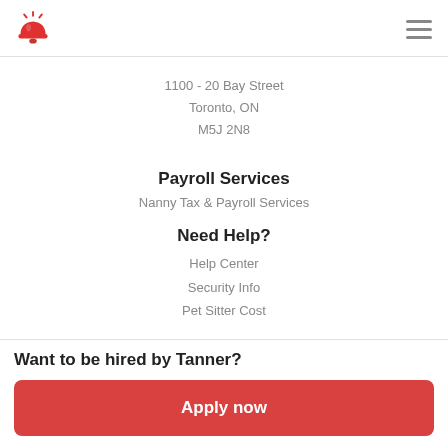Logo and navigation
1100 - 20 Bay Street
Toronto, ON
M5J 2N8
Payroll Services
Nanny Tax & Payroll Services
Need Help?
Help Center
Security Info
Pet Sitter Cost
Want to be hired by Tanner?
Apply now